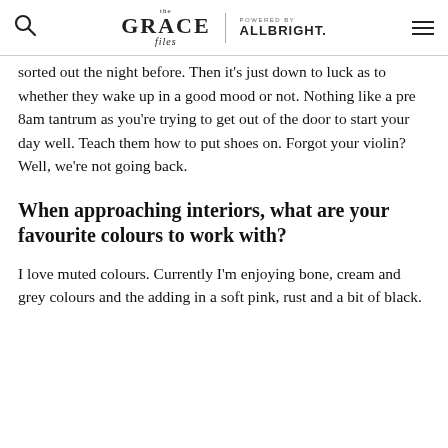The Grace Files | POWERED BY ALLBRIGHT.
sorted out the night before. Then it's just down to luck as to whether they wake up in a good mood or not. Nothing like a pre 8am tantrum as you're trying to get out of the door to start your day well. Teach them how to put shoes on. Forgot your violin? Well, we're not going back.
When approaching interiors, what are your favourite colours to work with?
I love muted colours. Currently I'm enjoying bone, cream and grey colours and the adding in a soft pink, rust and a bit of black.